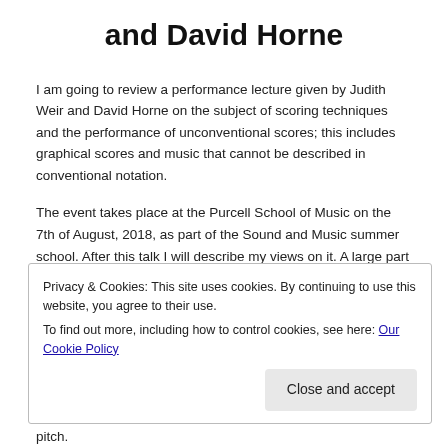and David Horne
I am going to review a performance lecture given by Judith Weir and David Horne on the subject of scoring techniques and the performance of unconventional scores; this includes graphical scores and music that cannot be described in conventional notation.
The event takes place at the Purcell School of Music on the 7th of August, 2018, as part of the Sound and Music summer school. After this talk I will describe my views on it. A large part of the lecture was centred around
Privacy & Cookies: This site uses cookies. By continuing to use this website, you agree to their use.
To find out more, including how to control cookies, see here: Our Cookie Policy
pitch.